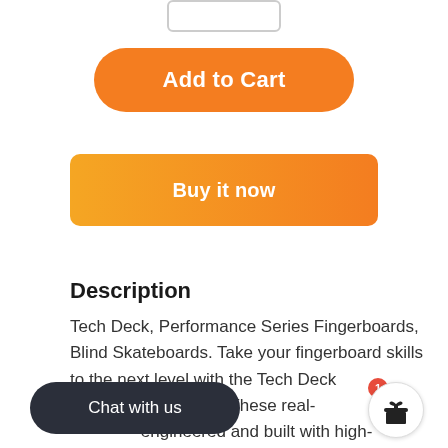[Figure (screenshot): Quantity input box at top of page]
[Figure (screenshot): Orange rounded 'Add to Cart' button]
[Figure (screenshot): Orange gradient 'Buy it now' button]
Description
Tech Deck, Performance Series Fingerboards, Blind Skateboards. Take your fingerboard skills to the next level with the Tech Deck Performance Series. These real- engineered and built with high- s for ultimate action. From nose Tech Deck Performance Series Fingerboards are ma replicate the feel of a real skateboard. The wood board
[Figure (screenshot): Dark rounded 'Chat with us' chat widget button at bottom left]
[Figure (screenshot): Gift icon circle button at bottom right with red badge showing 1]